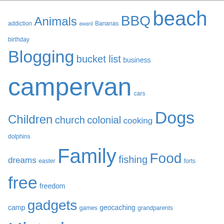[Figure (infographic): Tag cloud with words of varying sizes in blue, representing blog/website tags. Words include: addiction, Animals, award, Bananas, BBQ, beach, birthday, Blogging, bucket list, business, campervan, cars, Children, church, colonial, cooking, Dogs, dolphins, dreams, easter, Family, fishing, Food, forts, free, freedom camp, gadgets, games, geocaching, grandparents, Historic, History, Holidays, internet, kayak, lake, Lifestyle, low-cost, Maori, mountain, Museums, native bush, Nature, New Zealand, NZMCA, opinion, outdoors, parents, Pets, Photos, playground, poll, rain, review, river, roadtrip, Road Trip]